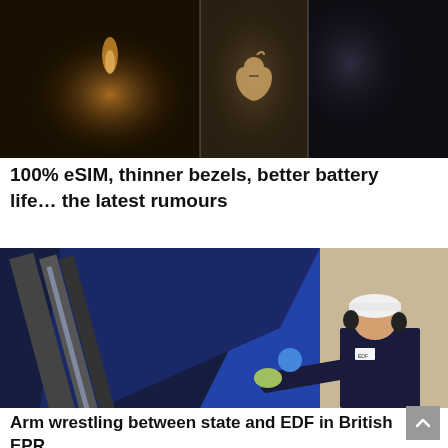[Figure (photo): Three-panel composite photo: left panel shows dark/candlelight scene, center panel shows Apple logo on a device, right panel shows a dark blurred scene]
100% eSIM, thinner bezels, better battery life… the latest rumours
[Figure (photo): Worker in white hard hat and ear protection examining large blue industrial equipment, likely nuclear reactor components (EPR)]
Arm wrestling between state and EDF in British EPR